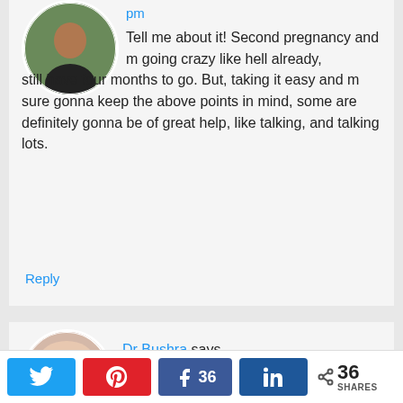[Figure (photo): Circular avatar photo of a woman in a dark top outdoors]
pm
Tell me about it! Second pregnancy and m going crazy like hell already, still have four months to go. But, taking it easy and m sure gonna keep the above points in mind, some are definitely gonna be of great help, like talking, and talking lots.
Reply
[Figure (photo): Circular avatar photo of a woman wearing a pink hijab]
Dr Bushra says
March 22, 2018 at 6:48
[Figure (infographic): Social share bar with Twitter, Pinterest, Facebook (36), LinkedIn buttons and 36 SHARES total]